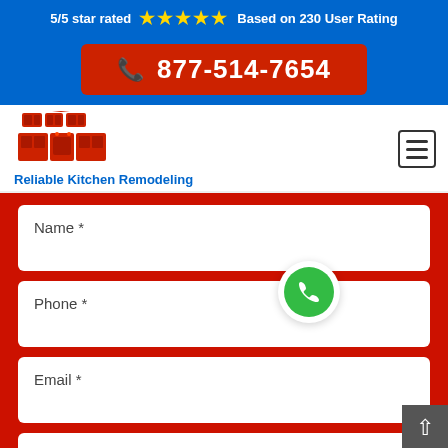5/5 star rated ★★★★★ Based on 230 User Rating
877-514-7654
[Figure (logo): Reliable Kitchen Remodeling logo with red kitchen illustration]
Reliable Kitchen Remodeling
Name *
Phone *
Email *
Privacy · Terms